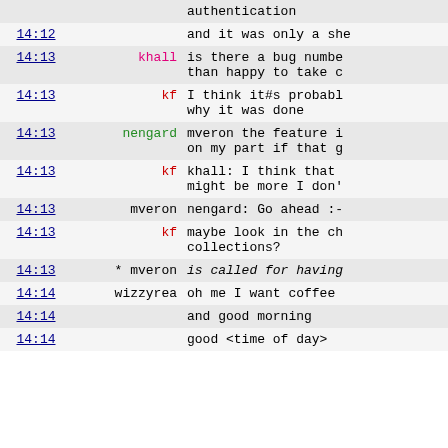| time | user | message |
| --- | --- | --- |
|  |  | authentication |
| 14:12 |  | and it was only a she |
| 14:13 | khall | is there a bug numbe than happy to take c |
| 14:13 | kf | I think it#s probabl why it was done |
| 14:13 | nengard | mveron the feature i on my part if that g |
| 14:13 | kf | khall: I think that might be more I don' |
| 14:13 | mveron | nengard: Go ahead :- |
| 14:13 | kf | maybe look in the ch collections? |
| 14:13 | * mveron | is called for having |
| 14:14 | wizzyrea | oh me I want coffee |
| 14:14 |  | and good morning |
| 14:14 |  | good <time of day> |